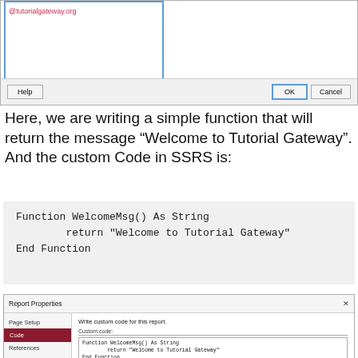[Figure (screenshot): Top portion of a dialog box showing a URL in red text '@tutorialgateway.org', a panel with blue border on the left, and buttons Help, OK (highlighted with blue border), and Cancel at the bottom.]
Here, we are writing a simple function that will return the message “Welcome to Tutorial Gateway”. And the custom Code in SSRS is:
[Figure (screenshot): Gray code block showing:
Function WelcomeMsg() As String
        return "Welcome to Tutorial Gateway"
End Function]
[Figure (screenshot): Report Properties dialog window showing: left nav with Page Setup, Code (selected in dark red), References, Variables. Right panel shows 'Write custom code for this report.' label, Custom code: text area containing the WelcomeMsg function.]